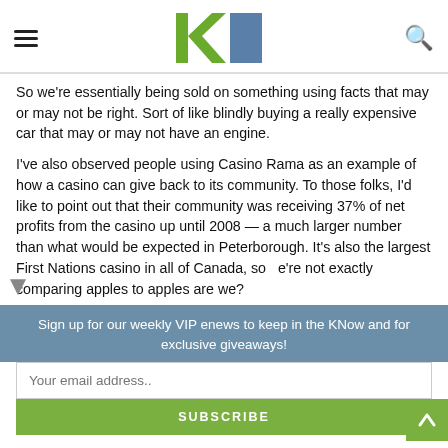kN logo with hamburger menu and search icon
So we're essentially being sold on something using facts that may or may not be right. Sort of like blindly buying a really expensive car that may or may not have an engine.
I've also observed people using Casino Rama as an example of how a casino can give back to its community. To those folks, I'd like to point out that their community was receiving 37% of net profits from the casino up until 2008 — a much larger number than what would be expected in Peterborough. It's also the largest First Nations casino in all of Canada, so we're not exactly comparing apples to apples are we?
Sign up for our weekly VIP enews to keep in the KNow and for exclusive giveaways!